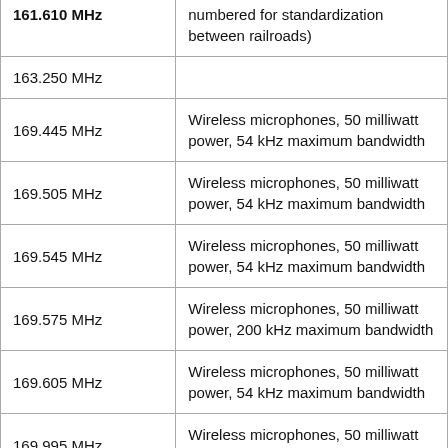| Frequency | Description |
| --- | --- |
| 161.610 MHz | numbered for standardization between railroads) |
| 163.250 MHz |  |
| 169.445 MHz | Wireless microphones, 50 milliwatt power, 54 kHz maximum bandwidth |
| 169.505 MHz | Wireless microphones, 50 milliwatt power, 54 kHz maximum bandwidth |
| 169.545 MHz | Wireless microphones, 50 milliwatt power, 54 kHz maximum bandwidth |
| 169.575 MHz | Wireless microphones, 50 milliwatt power, 200 kHz maximum bandwidth |
| 169.605 MHz | Wireless microphones, 50 milliwatt power, 54 kHz maximum bandwidth |
| 169.995 MHz | Wireless microphones, 50 milliwatt power, 54 kHz maximum bandwidth |